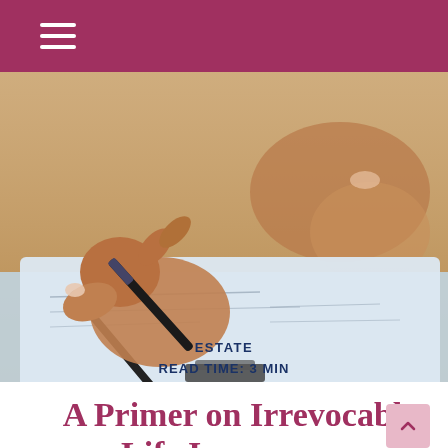[Figure (photo): Close-up photo of a person's hands holding a pen and signing or writing on a document on a clipboard, on a wooden surface.]
ESTATE
READ TIME: 3 MIN
A Primer on Irrevocable Life Insurance Trusts